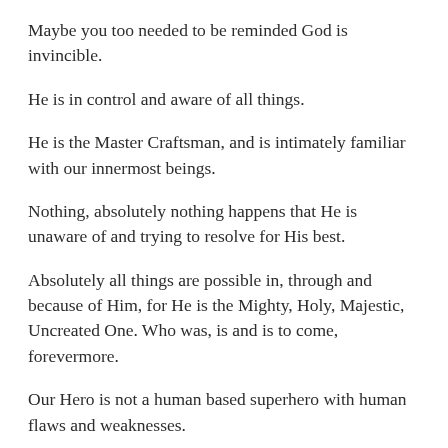Maybe you too needed to be reminded God is invincible.
He is in control and aware of all things.
He is the Master Craftsman, and is intimately familiar with our innermost beings.
Nothing, absolutely nothing happens that He is unaware of and trying to resolve for His best.
Absolutely all things are possible in, through and because of Him, for He is the Mighty, Holy, Majestic, Uncreated One. Who was, is and is to come, forevermore.
Our Hero is not a human based superhero with human flaws and weaknesses.